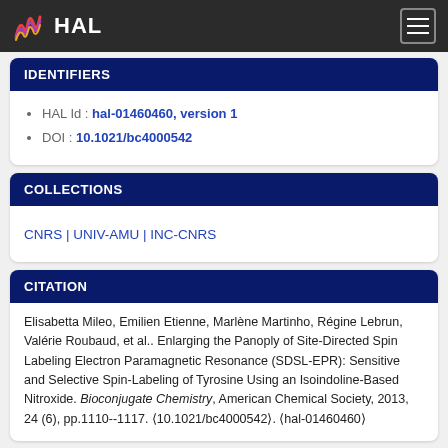HAL
IDENTIFIERS
HAL Id : hal-01460460, version 1
DOI : 10.1021/bc4000542
COLLECTIONS
CNRS | UNIV-AMU | INC-CNRS
CITATION
Elisabetta Mileo, Emilien Etienne, Marlène Martinho, Régine Lebrun, Valérie Roubaud, et al.. Enlarging the Panoply of Site-Directed Spin Labeling Electron Paramagnetic Resonance (SDSL-EPR): Sensitive and Selective Spin-Labeling of Tyrosine Using an Isoindoline-Based Nitroxide. Bioconjugate Chemistry, American Chemical Society, 2013, 24 (6), pp.1110--1117. ⟨10.1021/bc4000542⟩. ⟨hal-01460460⟩